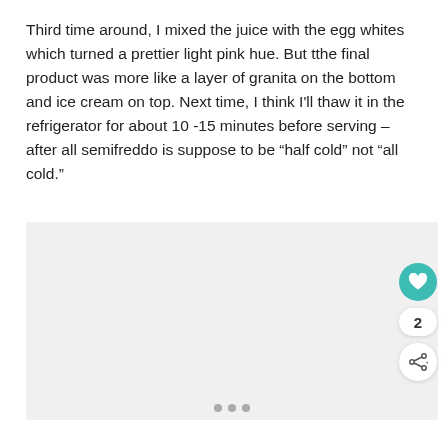Third time around, I mixed the juice with the egg whites which turned a prettier light pink hue. But tthe final product was more like a layer of granita on the bottom and ice cream on top. Next time, I think I'll thaw it in the refrigerator for about 10 -15 minutes before serving – after all semifreddo is suppose to be “half cold” not “all cold.”
[Figure (photo): A large light gray rectangular image placeholder area, likely a food photograph of a semifreddo dessert.]